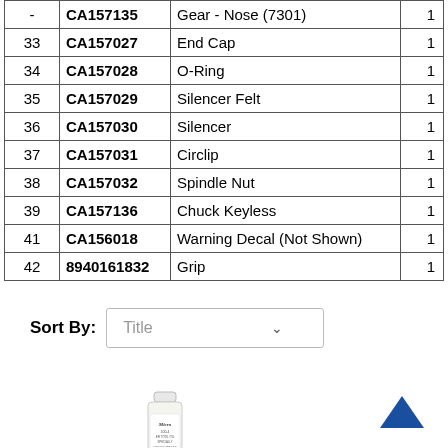|  |  |  |  |
| --- | --- | --- | --- |
| - | CA157135 | Gear - Nose (7301) | 1 |
| 33 | CA157027 | End Cap | 1 |
| 34 | CA157028 | O-Ring | 1 |
| 35 | CA157029 | Silencer Felt | 1 |
| 36 | CA157030 | Silencer | 1 |
| 37 | CA157031 | Circlip | 1 |
| 38 | CA157032 | Spindle Nut | 1 |
| 39 | CA157136 | Chuck Keyless | 1 |
| 41 | CA156018 | Warning Decal (Not Shown) | 1 |
| 42 | 8940161832 | Grip | 1 |
Sort By: Title
[Figure (photo): Small bottle of Micro tool oil product]